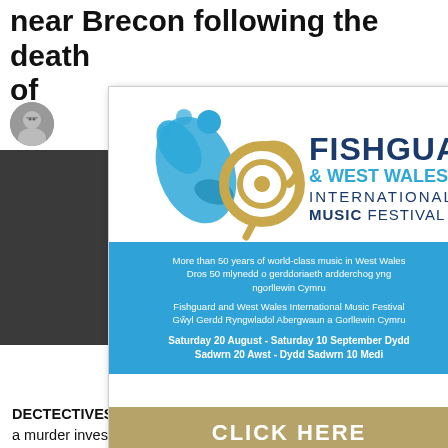near Brecon following the death of
[Figure (illustration): Circular author avatar photo showing a man with glasses]
[Figure (photo): Dark background photo on left side of article]
[Figure (photo): Hi-visibility jacket on right side of article]
[Figure (infographic): Fishguard & West Wales International Music Festival advertisement popup with logo, blue info band, and gold click here button]
DECTECTIVES from Dyfed-Powys Police say they have launched a murder investigation near Brecon following